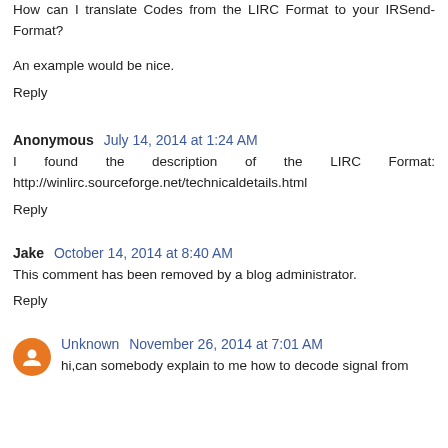How can I translate Codes from the LIRC Format to your IRSend-Format?
An example would be nice.
Reply
Anonymous  July 14, 2014 at 1:24 AM
I found the description of the LIRC Format: http://winlirc.sourceforge.net/technicaldetails.html
Reply
Jake  October 14, 2014 at 8:40 AM
This comment has been removed by a blog administrator.
Reply
Unknown  November 26, 2014 at 7:01 AM
hi,can somebody explain to me how to decode signal from